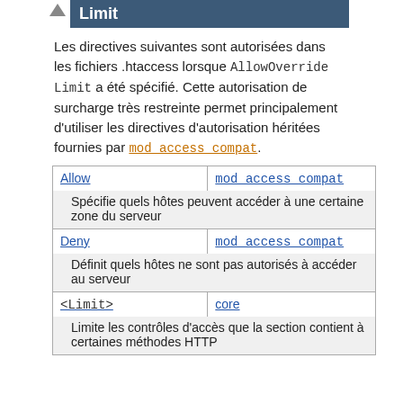Limit
Les directives suivantes sont autorisées dans les fichiers .htaccess lorsque AllowOverride Limit a été spécifié. Cette autorisation de surcharge très restreinte permet principalement d'utiliser les directives d'autorisation héritées fournies par mod_access_compat.
| Directive | Module |
| --- | --- |
| Allow | mod_access_compat | Spécifie quels hôtes peuvent accéder à une certaine zone du serveur |
| Deny | mod_access_compat | Définit quels hôtes ne sont pas autorisés à accéder au serveur |
| <Limit> | core | Limite les contrôles d'accès que la section contient à certaines méthodes HTTP |